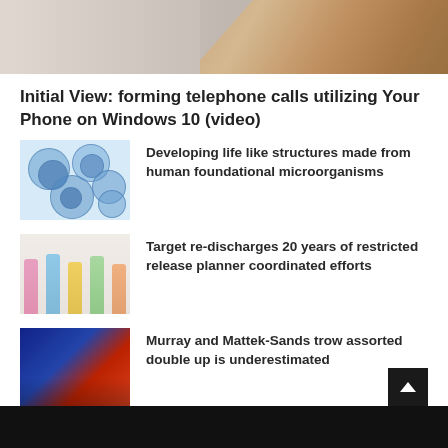[Figure (photo): Top portion of a hand holding a phone, cropped image]
Initial View: forming telephone calls utilizing Your Phone on Windows 10 (video)
[Figure (photo): Blue cell-like structures, microscopy image]
Developing life like structures made from human foundational microorganisms
[Figure (photo): Fashion models in colorful summer outfits]
Target re-discharges 20 years of restricted release planner coordinated efforts
[Figure (photo): Murray and Mattek-Sands celebrating on a tennis court with American flag]
Murray and Mattek-Sands trow assorted double up is underestimated